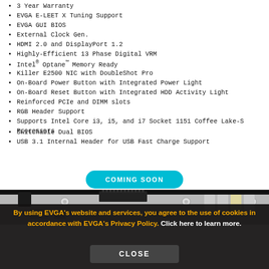3 Year Warranty
EVGA E-LEET X Tuning Support
EVGA GUI BIOS
External Clock Gen.
HDMI 2.0 and DisplayPort 1.2
Highly-Efficient 13 Phase Digital VRM
Intel® Optane™ Memory Ready
Killer E2500 NIC with DoubleShot Pro
On-Board Power Button with Integrated Power Light
On-Board Reset Button with Integrated HDD Activity Light
Reinforced PCIe and DIMM slots
RGB Header Support
Supports Intel Core i3, i5, and i7 Socket 1151 Coffee Lake-S Processors
Switchable Dual BIOS
USB 3.1 Internal Header for USB Fast Charge Support
[Figure (photo): Motherboard top-edge photo strip showing PCIe connectors, capacitors, and board components]
By using EVGA's website and services, you agree to the use of cookies in accordance with EVGA's Privacy Policy. Click here to learn more.
CLOSE